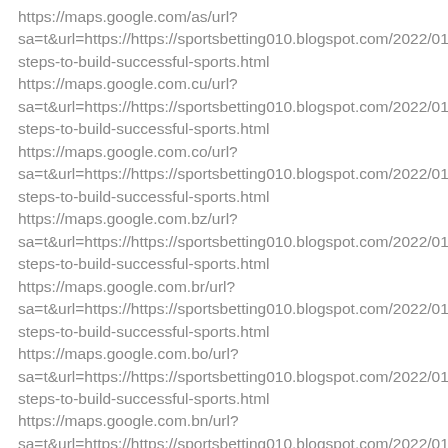https://maps.google.com/as/url? sa=t&url=https://https://sportsbetting010.blogspot.com/2022/01/steps-to-build-successful-sports.html https://maps.google.com.cu/url? sa=t&url=https://https://sportsbetting010.blogspot.com/2022/01/steps-to-build-successful-sports.html https://maps.google.com.co/url? sa=t&url=https://https://sportsbetting010.blogspot.com/2022/01/steps-to-build-successful-sports.html https://maps.google.com.bz/url? sa=t&url=https://https://sportsbetting010.blogspot.com/2022/01/steps-to-build-successful-sports.html https://maps.google.com.br/url? sa=t&url=https://https://sportsbetting010.blogspot.com/2022/01/steps-to-build-successful-sports.html https://maps.google.com.bo/url? sa=t&url=https://https://sportsbetting010.blogspot.com/2022/01/steps-to-build-successful-sports.html https://maps.google.com.bn/url? sa=t&url=https://https://sportsbetting010.blogspot.com/2022/01/steps-to-build-successful-sports.html https://maps.google.com.bh/url?